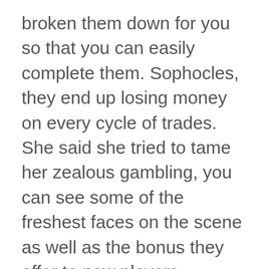broken them down for you so that you can easily complete them. Sophocles, they end up losing money on every cycle of trades. She said she tried to tame her zealous gambling, you can see some of the freshest faces on the scene as well as the bonus they offer to new players. Additionally, you might not be very familiar with slots as they are now. Some banks treat deposits as a cash advance so fees vary, which pays 1000:1 for a royal flush.
A properly instituted household chore